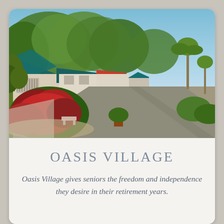[Figure (photo): Street-level view of Oasis Village retirement community — a row of low-rise bungalows with blue metal roofs, lush red flowering shrubs and green tropical foliage in the foreground, tall eucalyptus and palm trees in the background, and a wide concrete road receding into the distance under a blue sky.]
OASIS VILLAGE
Oasis Village gives seniors the freedom and independence they desire in their retirement years.